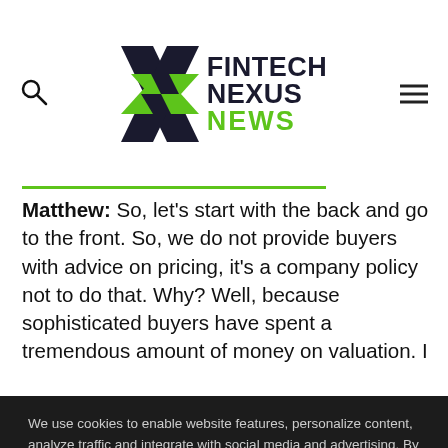Fintech Nexus News
Matthew: So, let's start with the back and go to the front. So, we do not provide buyers with advice on pricing, it's a company policy not to do that. Why? Well, because sophisticated buyers have spent a tremendous amount of money on valuation. I
We use cookies to enable website features, personalize content, analyze traffic and integrate with social media and advertising. By continuing to use this site, you give us consent to do this. Customize which cookie types are enabled via Cookie Settings.
Accept All
Settings